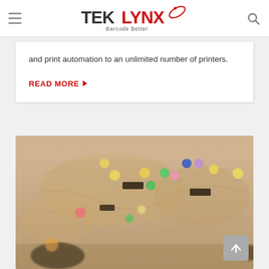TEKLYNX — Barcode Better (navigation bar with hamburger menu and search icon)
and print automation to an unlimited number of printers.
READ MORE
[Figure (photo): Close-up photograph of a vintage map with colorful push pins (red, yellow, green, blue, purple, pink) stuck into various locations across the map surface.]